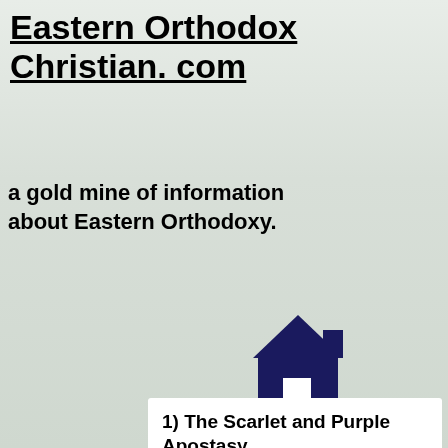Eastern Orthodox Christian. com
a gold mine of information about Eastern Orthodoxy.
[Figure (illustration): Dark navy blue home/house icon]
1) The Scarlet and Purple Apostasy.
[Figure (illustration): Pointing hand/finger illustration in blue ink style]
The Scarlet and Purple heresy of Constantine the Great:
Apostolic Succession - the long